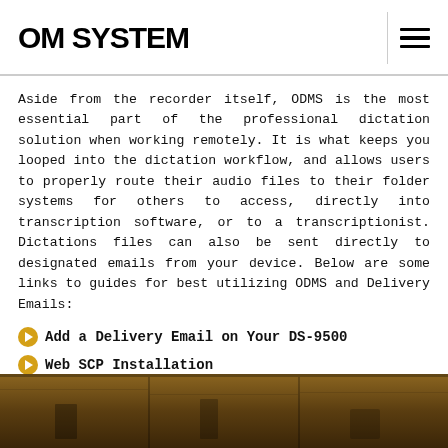OM SYSTEM
Aside from the recorder itself, ODMS is the most essential part of the professional dictation solution when working remotely. It is what keeps you looped into the dictation workflow, and allows users to properly route their audio files to their folder systems for others to access, directly into transcription software, or to a transcriptionist. Dictations files can also be sent directly to designated emails from your device. Below are some links to guides for best utilizing ODMS and Delivery Emails:
Add a Delivery Email on Your DS-9500
Web SCP Installation
Document Templates
Adding Users to the Web SCP for ODMS R7
[Figure (photo): Wooden shelving/cabinet furniture background photo strip at the bottom of the page]